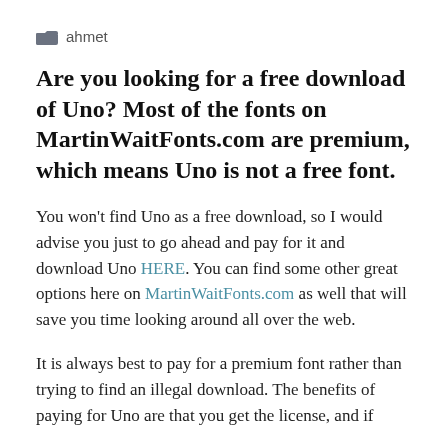ahmet
Are you looking for a free download of Uno? Most of the fonts on MartinWaitFonts.com are premium, which means Uno is not a free font.
You won't find Uno as a free download, so I would advise you just to go ahead and pay for it and download Uno HERE. You can find some other great options here on MartinWaitFonts.com as well that will save you time looking around all over the web.
It is always best to pay for a premium font rather than trying to find an illegal download. The benefits of paying for Uno are that you get the license, and if